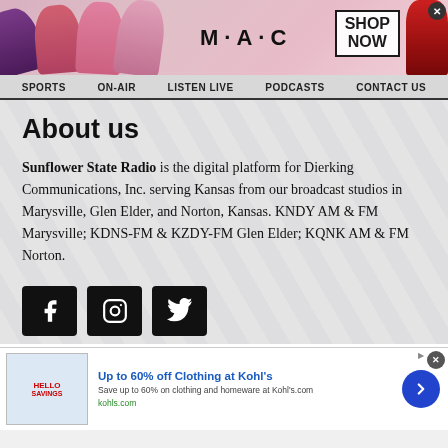[Figure (screenshot): MAC cosmetics advertisement banner showing lipsticks, MAC wordmark, SHOP NOW box, and a red lipstick on right side]
SPORTS   ON-AIR   LISTEN LIVE   PODCASTS   CONTACT US
About us
Sunflower State Radio is the digital platform for Dierking Communications, Inc. serving Kansas from our broadcast studios in Marysville, Glen Elder, and Norton, Kansas. KNDY AM & FM Marysville; KDNS-FM & KZDY-FM Glen Elder; KQNK AM & FM Norton.
[Figure (screenshot): Social media icons for Facebook, Instagram, and Twitter on black rounded square backgrounds]
[Figure (screenshot): Kohl's advertisement: Up to 60% off Clothing at Kohl's. Save up to 60% on clothing and homeware at Kohl's.com. kohls.com]